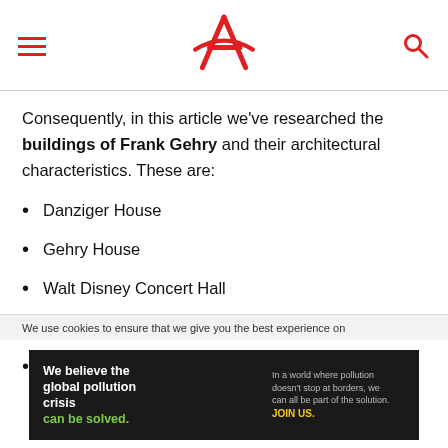Navigation header with hamburger menu, stylized A logo, and search icon
Consequently, in this article we've researched the buildings of Frank Gehry and their architectural characteristics. These are:
Danziger House
Gehry House
Walt Disney Concert Hall
Bilbao Guggenheim Museum
Dancing House
We use cookies to ensure that we give you the best experience on
[Figure (infographic): Pure Earth advertisement banner: 'We believe the global pollution crisis can be solved.' with Pure Earth logo and green diamond icon]